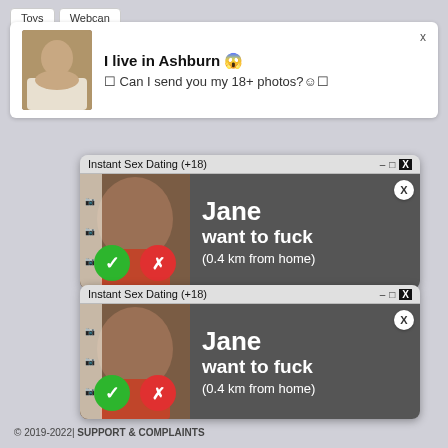Toys
Webcam
[Figure (screenshot): Browser notification popup showing a woman photo with text 'I live in Ashburn' and 'Can I send you my 18+ photos?']
[Figure (screenshot): Instant Sex Dating (+18) popup window showing 'Jane want to fuck (0.4 km from home)' with accept and reject buttons]
[Figure (screenshot): Instant Sex Dating (+18) popup window (duplicate) showing 'Jane want to fuck (0.4 km from home)' with accept and reject buttons]
© 2019-2022| SUPPORT & COMPLAINTS